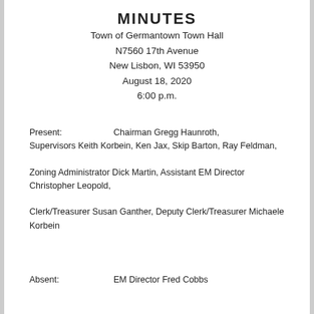MINUTES
Town of Germantown Town Hall
N7560 17th Avenue
New Lisbon, WI 53950
August 18, 2020
6:00 p.m.
Present:          Chairman Gregg Haunroth, Supervisors Keith Korbein, Ken Jax, Skip Barton, Ray Feldman,
Zoning Administrator Dick Martin, Assistant EM Director Christopher Leopold,
Clerk/Treasurer Susan Ganther, Deputy Clerk/Treasurer Michaele Korbein
Absent:           EM Director Fred Cobbs